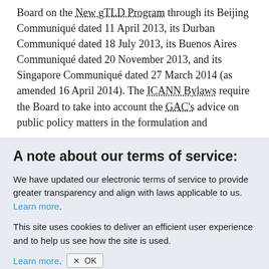Board on the New gTLD Program through its Beijing Communiqué dated 11 April 2013, its Durban Communiqué dated 18 July 2013, its Buenos Aires Communiqué dated 20 November 2013, and its Singapore Communiqué dated 27 March 2014 (as amended 16 April 2014). The ICANN Bylaws require the Board to take into account the GAC's advice on public policy matters in the formulation and
A note about our terms of service:
We have updated our electronic terms of service to provide greater transparency and align with laws applicable to us. Learn more.
This site uses cookies to deliver an efficient user experience and to help us see how the site is used. Learn more. OK